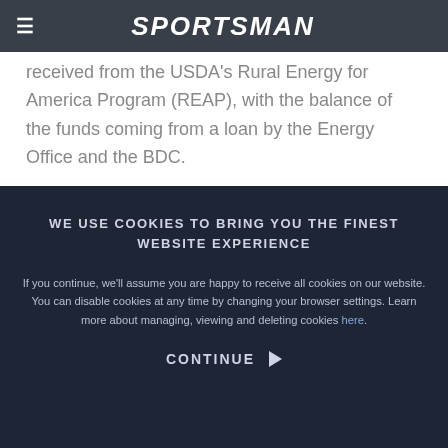SPORTSMAN
received from the USDA's Rural Energy for America Program (REAP), with the balance of the funds coming from a loan by the Energy Office and the BDC.
WE USE COOKIES TO BRING YOU THE FINEST WEBSITE EXPERIENCE
If you continue, we'll assume you are happy to receive all cookies on our website. You can disable cookies at any time by changing your browser settings. Learn more about managing, viewing and deleting cookies here.
CONTINUE